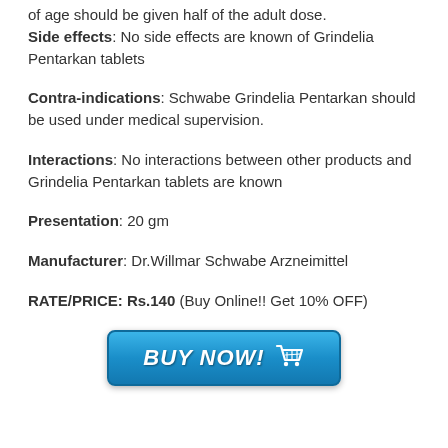of age should be given half of the adult dose. Side effects: No side effects are known of Grindelia Pentarkan tablets
Contra-indications: Schwabe Grindelia Pentarkan should be used under medical supervision.
Interactions: No interactions between other products and Grindelia Pentarkan tablets are known
Presentation: 20 gm
Manufacturer: Dr.Willmar Schwabe Arzneimittel
RATE/PRICE: Rs.140 (Buy Online!! Get 10% OFF)
[Figure (illustration): Blue 'BUY NOW!' button with shopping cart icon]